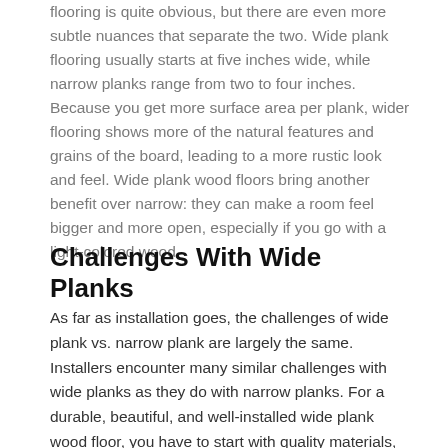flooring is quite obvious, but there are even more subtle nuances that separate the two. Wide plank flooring usually starts at five inches wide, while narrow planks range from two to four inches. Because you get more surface area per plank, wider flooring shows more of the natural features and grains of the board, leading to a more rustic look and feel. Wide plank wood floors bring another benefit over narrow: they can make a room feel bigger and more open, especially if you go with a light-colored wood.
Challenges With Wide Planks
As far as installation goes, the challenges of wide plank vs. narrow plank are largely the same.  Installers encounter many similar challenges with wide planks as they do with narrow planks. For a durable, beautiful, and well-installed wide plank wood floor, you have to start with quality materials, sufficiently-cured wood, adequate acclimation to your home's climate, and finally, proper installation by professionals.